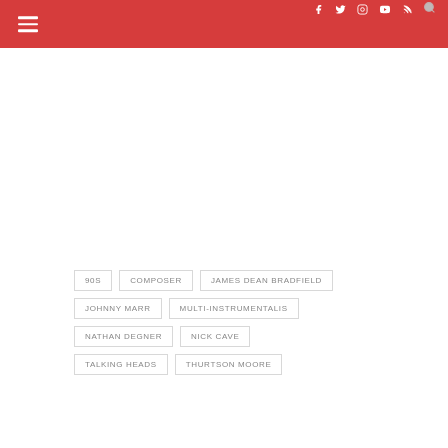Navigation header with hamburger menu, social icons (Facebook, Twitter, Instagram, YouTube, RSS), and search icon
90S
COMPOSER
JAMES DEAN BRADFIELD
JOHNNY MARR
MULTI-INSTRUMENTALIS
NATHAN DEGNER
NICK CAVE
TALKING HEADS
THURTSON MOORE